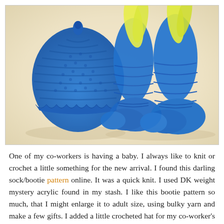[Figure (photo): A blue crocheted baby hat and two blue knitted baby booties/socks arranged on a light beige/cream background. The hat has a small knot on top and a decorative scalloped brim. The two booties are standing upright with yellow flower petals or fabric sticking out from the top of each one.]
One of my co-workers is having a baby. I always like to knit or crochet a little something for the new arrival. I found this darling sock/bootie pattern online. It was a quick knit. I used DK weight mystery acrylic found in my stash. I like this bootie pattern so much, that I might enlarge it to adult size, using bulky yarn and make a few gifts. I added a little crocheted hat for my co-worker's baby boy. I made up the